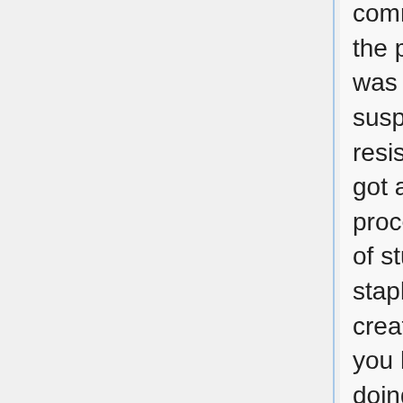comment made on the plans by the BCO - that if the plasterboard thickness to the first floor ceiling was not 12.5mm, then one should use rockwool suspended on chicken wire to improve the fire resistance of the new floor. By the time you have got a roll of chicken wire and cut it in half, then proceeded to unwind the irritatingly twangy 100M of stuff and stick it between all the joists, then staple it in place, and finally overlay it with that vile creation rockwool (or Isowool as we actually used) you have spent an awful lot of itchy scratchy days doing it!.
(On the bright side it will also reduce noise transmission between storeys)
Although not a "fun" job, it does add some extra escape time in the event of a fire (and that becomes more important when buildings go over two storeys tall).